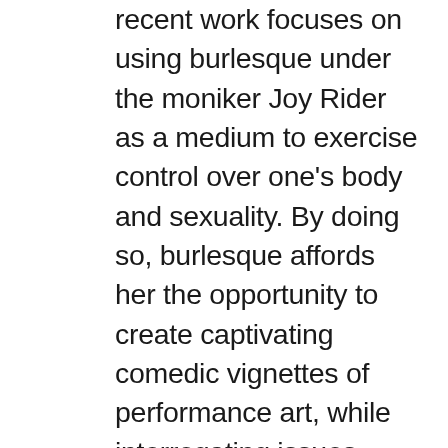recent work focuses on using burlesque under the moniker Joy Rider as a medium to exercise control over one's body and sexuality. By doing so, burlesque affords her the opportunity to create captivating comedic vignettes of performance art, while interrogating issues such as the complexity of acculturation as an immigrant settler living in the diaspora. Marbella won the prestigious Bunny Competition at the Edmonton International Burlesque Festival. Her project within Alliance 2020-21 uses performance to create interpretations of pre-colonial folklore creatures from the Philippines.